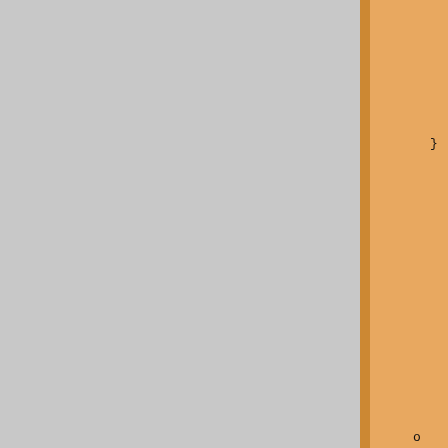[Figure (other): Three-column page layout. Left column: gray background. Middle column: orange/tan background with orange left and right borders. Right column: white background with code and text content.]
private
    int N
    void
    int c
    {
        retu
    }
}
object a
    a->b = 1
    werror("
o Casting to
It is now
correspond
typedef
return N
o Unicode es
Pike now s
\uxxxx and
and chara
that unico
they conta
code chars